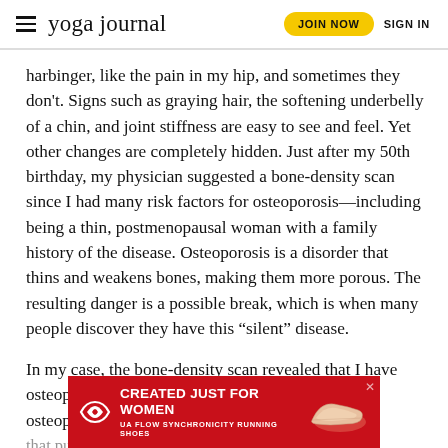yoga journal | JOIN NOW | SIGN IN
harbinger, like the pain in my hip, and sometimes they don't. Signs such as graying hair, the softening underbelly of a chin, and joint stiffness are easy to see and feel. Yet other changes are completely hidden. Just after my 50th birthday, my physician suggested a bone-density scan since I had many risk factors for osteoporosis—including being a thin, postmenopausal woman with a family history of the disease. Osteoporosis is a disorder that thins and weakens bones, making them more porous. The resulting danger is a possible break, which is when many people discover they have this “silent” disease.
In my case, the bone-density scan revealed that I have osteopenia, or low bone density, a precursor to osteoporosis that pu... alone...
[Figure (advertisement): Under Armour red banner ad: CREATED JUST FOR WOMEN — UA FLOW SYNCHRONICITY RUNNING SHOES, with UA logo and shoe image]